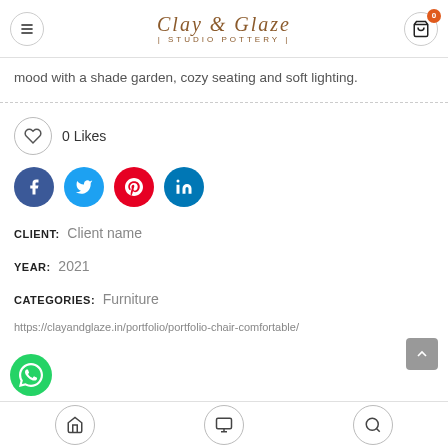Clay & Glaze | Studio Pottery
mood with a shade garden, cozy seating and soft lighting.
0 Likes
CLIENT: Client name
YEAR: 2021
CATEGORIES: Furniture